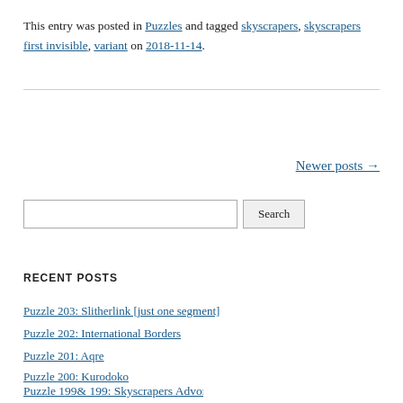This entry was posted in Puzzles and tagged skyscrapers, skyscrapers first invisible, variant on 2018-11-14.
Newer posts →
RECENT POSTS
Puzzle 203: Slitherlink [just one segment]
Puzzle 202: International Borders
Puzzle 201: Aqre
Puzzle 200: Kurodoko
Puzzle 199 & 199: Skyscrapers Advisor A…